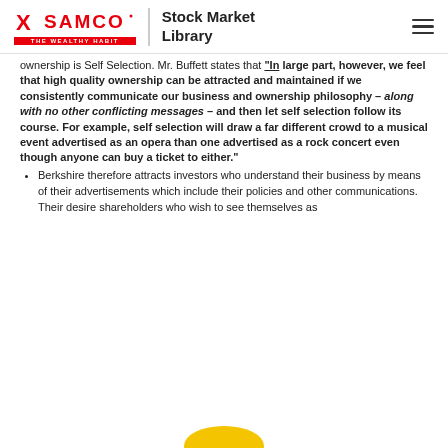SAMCO THE WEALTHY HABIT | Stock Market Library
ownership is Self Selection. Mr. Buffett states that “In large part, however, we feel that high quality ownership can be attracted and maintained if we consistently communicate our business and ownership philosophy – along with no other conflicting messages – and then let self selection follow its course. For example, self selection will draw a far different crowd to a musical event advertised as an opera than one advertised as a rock concert even though anyone can buy a ticket to either.”
Berkshire therefore attracts investors who understand their business by means of their advertisements which include their policies and other communications. Their desire shareholders who wish to see themselves as